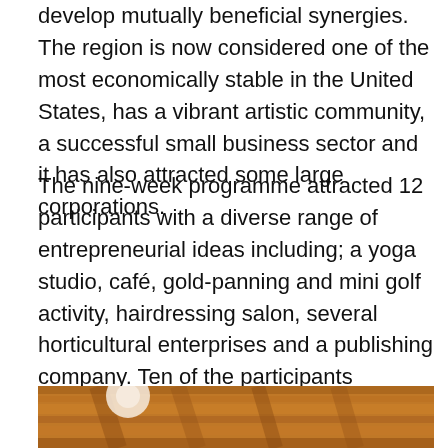develop mutually beneficial synergies. The region is now considered one of the most economically stable in the United States, has a vibrant artistic community, a successful small business sector and it has also attracted some large corporations.
The nine-week programme attracted 12 participants with a diverse range of entrepreneurial ideas including; a yoga studio, café, gold-panning and mini golf activity, hairdressing salon, several horticultural enterprises and a publishing company. Ten of the participants graduated on Monday at Presentation Night where they pitched their business ideas in a five-minute address to members of the community, West Coast business leaders, government officials and potential financiers.
[Figure (photo): Interior photo showing wooden ceiling beams with warm amber/brown tones and overhead lighting]